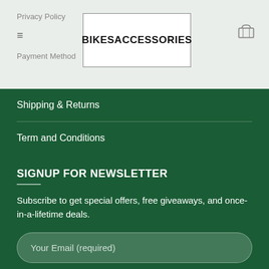Privacy Policy | Menu | Payment Method | BIKESACCESSORIES
Shipping & Returns
Term and Conditions
SIGNUP FOR NEWSLETTER
Subscribe to get special offers, free giveaways, and once-in-a-lifetime deals.
Your Email (required)
SIGN UP